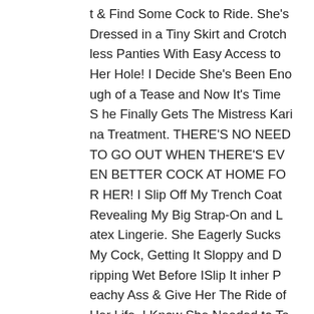t & Find Some Cock to Ride. She's Dressed in a Tiny Skirt and Crotchless Panties With Easy Access to Her Hole! I Decide She's Been Enough of a Tease and Now It's Time She Finally Gets The Mistress Karina Treatment. THERE'S NO NEED TO GO OUT WHEN THERE'S EVEN BETTER COCK AT HOME FOR HER! I Slip Off My Trench Coat Revealing My Big Strap-On and Latex Lingerie. She Eagerly Sucks My Cock, Getting It Sloppy and Dripping Wet Before ISlip It inher Peachy Ass & Give Her The Ride of Her Life. I Know She Needed to Take My Cock Deen And Hard & I F